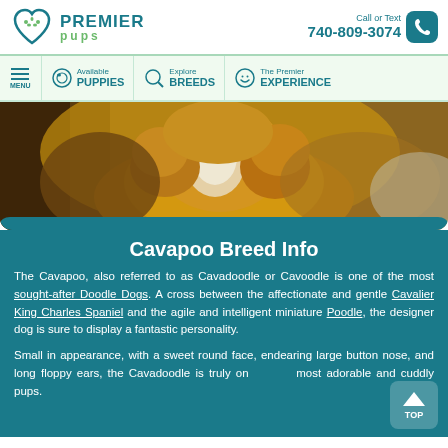Premier Pups | Call or Text 740-809-3074
[Figure (screenshot): Premier Pups website navigation bar with menu, Available Puppies, Explore Breeds, The Premier Experience links]
[Figure (photo): Close-up photo of a fluffy golden/auburn Cavapoo puppy with curly fur]
Cavapoo Breed Info
The Cavapoo, also referred to as Cavadoodle or Cavoodle is one of the most sought-after Doodle Dogs. A cross between the affectionate and gentle Cavalier King Charles Spaniel and the agile and intelligent miniature Poodle, the designer dog is sure to display a fantastic personality.
Small in appearance, with a sweet round face, endearing large button nose, and long floppy ears, the Cavadoodle is truly one of the most adorable and cuddly pups.